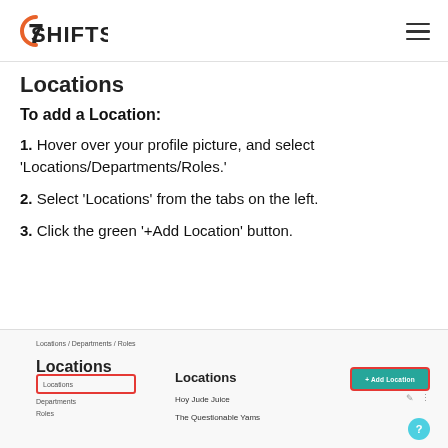7SHIFTS
Locations
To add a Location:
1. Hover over your profile picture, and select 'Locations/Departments/Roles.'
2. Select 'Locations' from the tabs on the left.
3. Click the green '+Add Location' button.
[Figure (screenshot): Screenshot of 7shifts Locations/Departments/Roles page showing the Locations tab selected (highlighted with red border), Locations heading, location entries 'Hoy Jude Juice' and 'The Questionable Yams', and a green '+Add Location' button highlighted with a red border in the top right.]